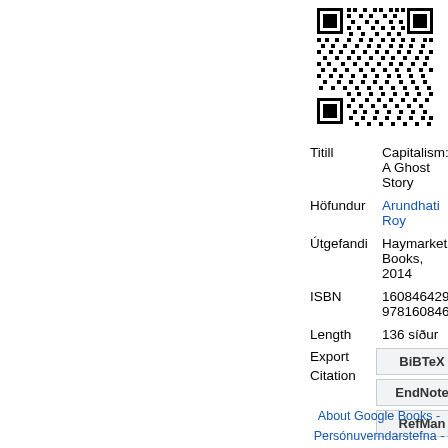[Figure (other): QR code image in upper right area of page]
| Field | Value |
| --- | --- |
| Titill | Capitalism: A Ghost Story |
| Höfundur | Arundhati Roy |
| Útgefandi | Haymarket Books, 2014 |
| ISBN | 1608464296, 9781608464296 |
| Length | 136 síður |
Export Citation
BiBTeX
EndNote
RefMan
About Google Books - Persónuverndarstefna -